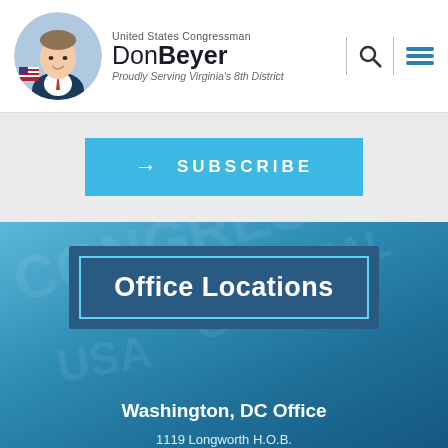United States Congressman Don Beyer — Proudly Serving Virginia's 8th District
→ SUBSCRIBE
Office Locations
Washington, DC Office
1119 Longworth H.O.B.
Washington, DC 20515
Phone: (202) 225-4376
Fax: (202) 225-0017
District Office